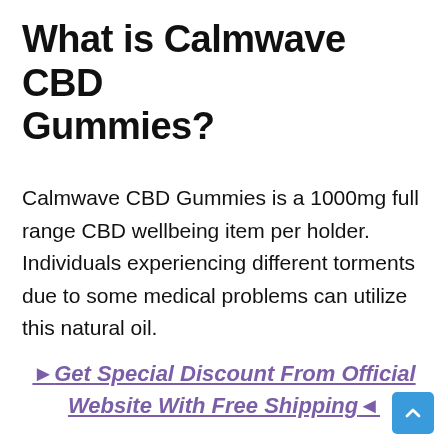What is Calmwave CBD Gummies?
Calmwave CBD Gummies is a 1000mg full range CBD wellbeing item per holder. Individuals experiencing different torments due to some medical problems can utilize this natural oil.
►Get Special Discount From Official Website With Free Shipping◄
HOW TO USE CBD GUMMIES TO GET RESULTS